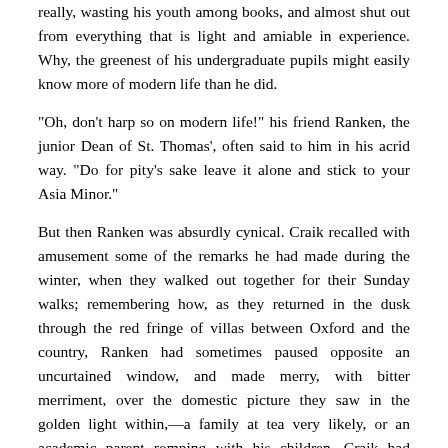really, wasting his youth among books, and almost shut out from everything that is light and amiable in experience. Why, the greenest of his undergraduate pupils might easily know more of modern life than he did.
"Oh, don't harp so on modern life!" his friend Ranken, the junior Dean of St. Thomas', often said to him in his acrid way. "Do for pity's sake leave it alone and stick to your Asia Minor."
But then Ranken was absurdly cynical. Craik recalled with amusement some of the remarks he had made during the winter, when they walked out together for their Sunday walks; remembering how, as they returned in the dusk through the red fringe of villas between Oxford and the country, Ranken had sometimes paused opposite an uncurtained window, and made merry, with bitter merriment, over the domestic picture they saw in the golden light within,—a family at tea very likely, or an academic parent romping with his children. Craik had always listened in uncontradicting silence; only, standing in the chill gray of the twilight, he would draw his coat about him more tightly; and afterwards, alone in his rooms, these visions would sometimes haunt him, and not unpleasantly.